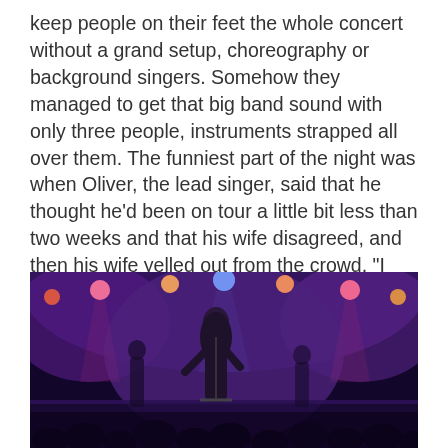keep people on their feet the whole concert without a grand setup, choreography or background singers. Somehow they managed to get that big band sound with only three people, instruments strapped all over them. The funniest part of the night was when Oliver, the lead singer, said that he thought he'd been on tour a little bit less than two weeks and that his wife disagreed, and then his wife yelled out from the crowd, "I CAN COUNT!" I was in awe the entire night, and if you're into folk music, I bet you'll be in awe, too.
[Figure (photo): Concert photo showing a performer on stage with purple and pink stage lighting, crowd visible in foreground, multiple stage lights visible overhead]